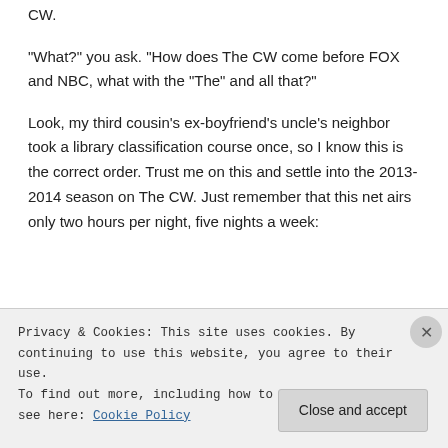CW.
"What?" you ask. "How does The CW come before FOX and NBC, what with the “The” and all that?"
Look, my third cousin’s ex-boyfriend’s uncle’s neighbor took a library classification course once, so I know this is the correct order. Trust me on this and settle into the 2013-2014 season on The CW. Just remember that this net airs only two hours per night, five nights a week:
[Figure (infographic): Green rectangular block with teal colored rectangles at the bottom]
Number of new shows: 3
Number of returning shows:
Privacy & Cookies: This site uses cookies. By continuing to use this website, you agree to their use.
To find out more, including how to control cookies, see here: Cookie Policy
Close and accept